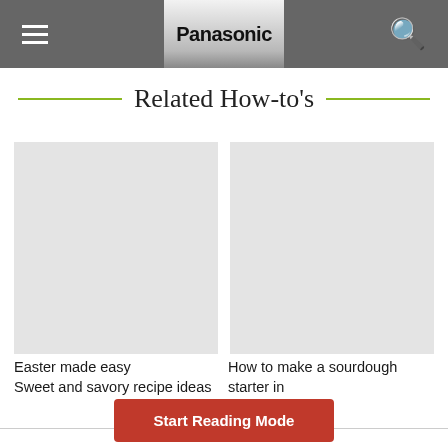Panasonic
Related How-to's
[Figure (photo): Two content card images side by side (placeholder images)]
Easter made easy
Sweet and savory recipe ideas
How to make a sourdough starter in 7 days
Start Reading Mode